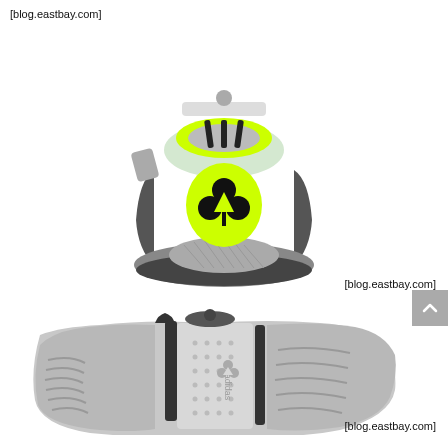[Figure (photo): Rear view of an Adidas high-top sneaker showing the back heel with white leather upper, gray panels, black three stripes on the ankle collar, neon yellow/green Adidas trefoil logo on the heel tab, and gray outsole with mesh texture]
[Figure (photo): Bottom sole view of an Adidas sneaker showing light gray outsole with chevron traction patterns, dot texture in the center, black midsole dividers, and Adidas trefoil logo printed on the insole]
[blog.eastbay.com]
[blog.eastbay.com]
[blog.eastbay.com]